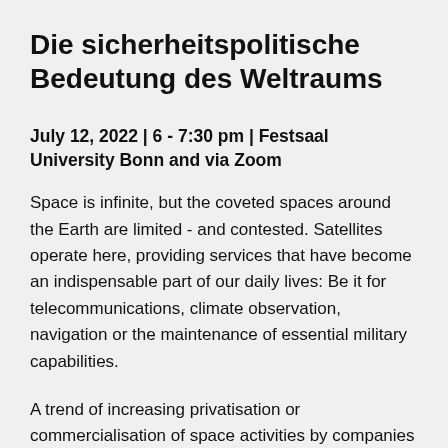Die sicherheitspolitische Bedeutung des Weltraums
July 12, 2022 | 6 - 7:30 pm | Festsaal University Bonn and via Zoom
Space is infinite, but the coveted spaces around the Earth are limited - and contested. Satellites operate here, providing services that have become an indispensable part of our daily lives: Be it for telecommunications, climate observation, navigation or the maintenance of essential military capabilities.
A trend of increasing privatisation or commercialisation of space activities by companies